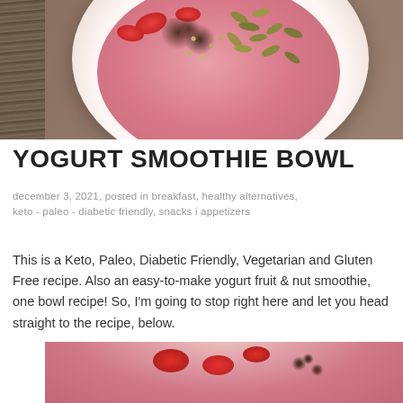[Figure (photo): Top-down photo of a pink yogurt smoothie bowl topped with sliced strawberries, chia seeds, pumpkin seeds, and crushed dark chocolate, on a wooden surface]
YOGURT SMOOTHIE BOWL
december 3, 2021, posted in breakfast, healthy alternatives, keto - paleo - diabetic friendly, snacks i appetizers
This is a Keto, Paleo, Diabetic Friendly, Vegetarian and Gluten Free recipe. Also an easy-to-make yogurt fruit & nut smoothie, one bowl recipe! So, I'm going to stop right here and let you head straight to the recipe, below.
[Figure (photo): Partial top-down photo of another pink yogurt smoothie bowl with strawberry toppings]